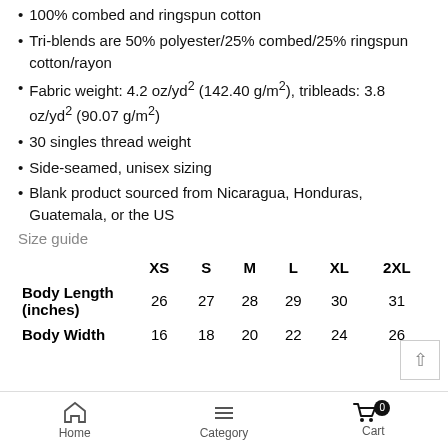100% combed and ringspun cotton
Tri-blends are 50% polyester/25% combed/25% ringspun cotton/rayon
Fabric weight: 4.2 oz/yd² (142.40 g/m²), tribleads: 3.8 oz/yd² (90.07 g/m²)
30 singles thread weight
Side-seamed, unisex sizing
Blank product sourced from Nicaragua, Honduras, Guatemala, or the US
Size guide
|  | XS | S | M | L | XL | 2XL |
| --- | --- | --- | --- | --- | --- | --- |
| Body Length (inches) | 26 | 27 | 28 | 29 | 30 | 31 |
| Body Width | 16 | 18 | 20 | 22 | 24 | 26 |
Home  Category  Cart